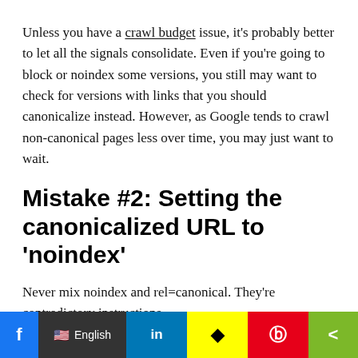Unless you have a crawl budget issue, it's probably better to let all the signals consolidate. Even if you're going to block or noindex some versions, you still may want to check for versions with links that you should canonicalize instead. However, as Google tends to crawl non-canonical pages less over time, you may just want to wait.
Mistake #2: Setting the canonicalized URL to 'noindex'
Never mix noindex and rel=canonical. They're contradictory instructions.
As John Mueller states, Google will usually prioritize the canonical tag over the 'noindex' tag